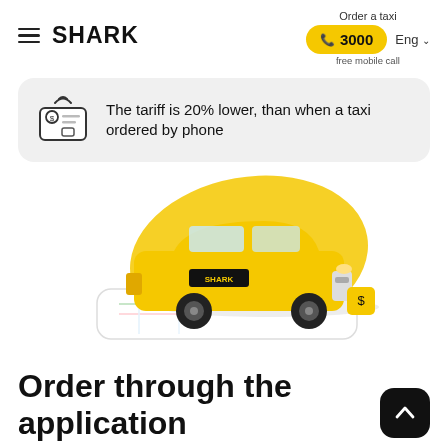SHARK — Order a taxi — ☏3000 — free mobile call — Eng
The tariff is 20% lower, than when a taxi ordered by phone
[Figure (illustration): Yellow SHARK taxi car floating above a smartphone showing a map, with a yellow blob background, and a small yellow icon to the right]
Order through the application